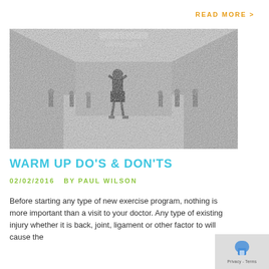READ MORE >
[Figure (photo): Black and white photograph of a group exercise class in a large gymnasium or hall, with participants doing stretching warm-up exercises. A person in the foreground faces away from the camera with hands behind head.]
WARM UP DO'S & DON'TS
02/02/2016   BY PAUL WILSON
Before starting any type of new exercise program, nothing is more important than a visit to your doctor. Any type of existing injury whether it is back, joint, ligament or other factor to will cause the